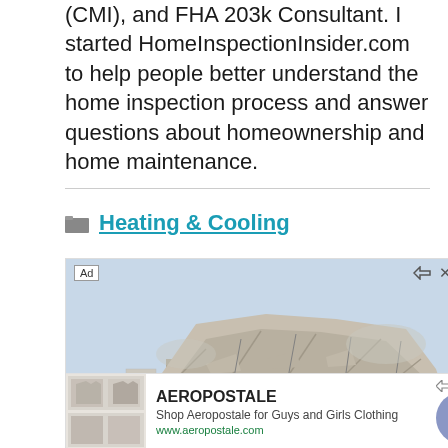(CMI), and FHA 203k Consultant. I started HomeInspectionInsider.com to help people better understand the home inspection process and answer questions about homeownership and home maintenance.
Heating & Cooling
[Figure (photo): Advertisement showing a demolished or partially destroyed concrete building structure against a light sky background. Bottom overlay shows Aeropostale ad with clothing thumbnails.]